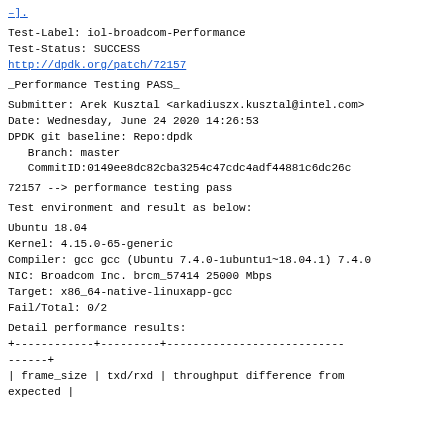–].
Test-Label: iol-broadcom-Performance
Test-Status: SUCCESS
http://dpdk.org/patch/72157
_Performance Testing PASS_
Submitter: Arek Kusztal <arkadiuszx.kusztal@intel.com>
Date: Wednesday, June 24 2020 14:26:53
DPDK git baseline: Repo:dpdk
    Branch: master
    CommitID:0149ee8dc82cba3254c47cdc4adf44881c6dc26c
72157 --> performance testing pass
Test environment and result as below:
Ubuntu 18.04
Kernel: 4.15.0-65-generic
Compiler: gcc gcc (Ubuntu 7.4.0-1ubuntu1~18.04.1) 7.4.0
NIC: Broadcom Inc. brcm_57414 25000 Mbps
Target: x86_64-native-linuxapp-gcc
Fail/Total: 0/2
Detail performance results:
+------------+---------+---------------------------
------+
| frame_size | txd/rxd | throughput difference from expected |